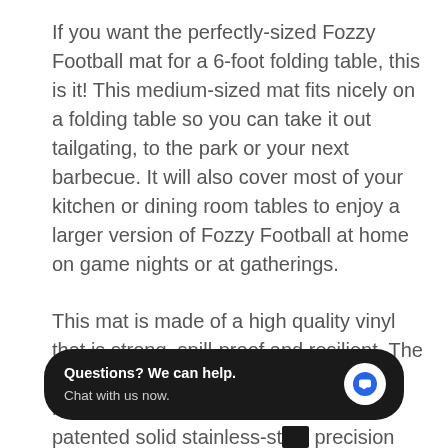If you want the perfectly-sized Fozzy Football mat for a 6-foot folding table, this is it! This medium-sized mat fits nicely on a folding table so you can take it out tailgating, to the park or your next barbecue. It will also cover most of your kitchen or dining room tables to enjoy a larger version of Fozzy Football at home on game nights or at gatherings.
This mat is made of a high quality vinyl that is strong, spill-proof and resilient. The game comes with a slightly larger, medium-sized game puck, the same patented solid stainless-steel precision cross-hair in the center. It also includes two
[Figure (screenshot): Chat widget overlay with black rounded rectangle background, showing 'Questions? We can help. Chat with us now.' text and a circular blue chat icon on the right.]